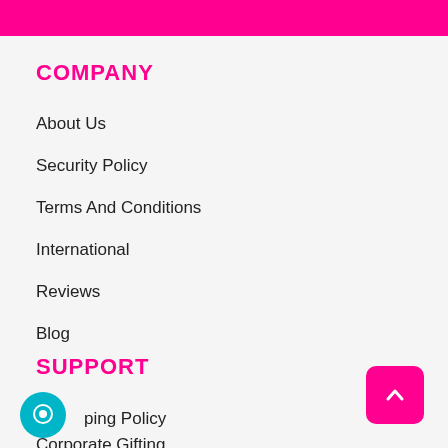COMPANY
About Us
Security Policy
Terms And Conditions
International
Reviews
Blog
SUPPORT
Shipping Policy
Corporate Gifting